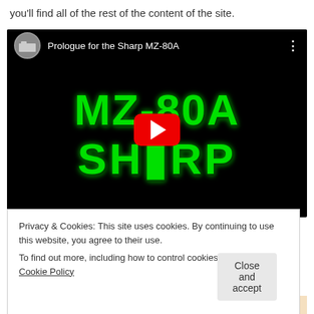you'll find all of the rest of the content of the site.
[Figure (screenshot): YouTube video thumbnail for 'Prologue for the Sharp MZ-80A' showing green pixel art text 'MZ-80A SHARP' on black background with a red YouTube play button in the center]
Privacy & Cookies: This site uses cookies. By continuing to use this website, you agree to their use.
To find out more, including how to control cookies, see here: Cookie Policy
Close and accept